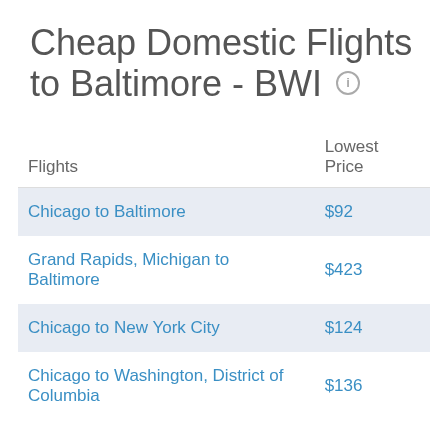Cheap Domestic Flights to Baltimore - BWI
| Flights | Lowest Price |
| --- | --- |
| Chicago to Baltimore | $92 |
| Grand Rapids, Michigan to Baltimore | $423 |
| Chicago to New York City | $124 |
| Chicago to Washington, District of Columbia | $136 |